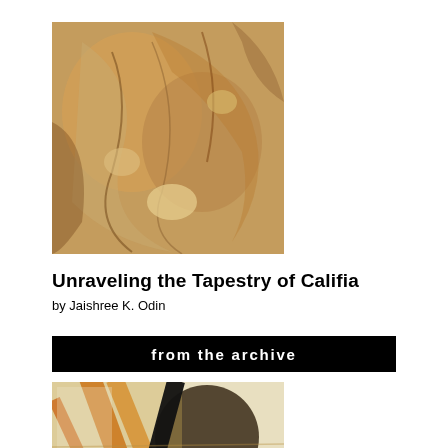[Figure (illustration): Abstract sandy/warm-toned image resembling crumpled fabric or organic forms with amber and beige tones]
Unraveling the Tapestry of Califia
by Jaishree K. Odin
from the archive
[Figure (illustration): Abstract geometric constructivist painting with diagonal lines in orange, black, and brown on a light background, with circular and rectangular forms]
What Remains in Liam's Going
by David Ciccoricco